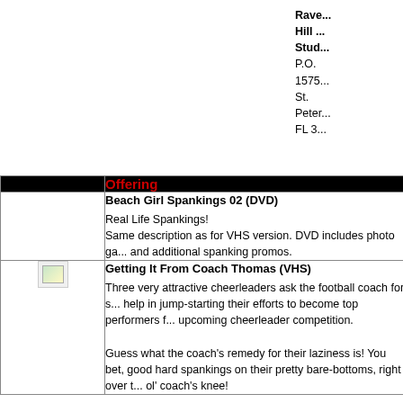Raven Hill Studios P.O. 15757 St. Petersburg FL 3...
|  | Offering |
| --- | --- |
|  | Beach Girl Spankings 02 (DVD)
Real Life Spankings!
Same description as for VHS version. DVD includes photo gallery and additional spanking promos. |
| [image] | Getting It From Coach Thomas (VHS)
Three very attractive cheerleaders ask the football coach for some help in jump-starting their efforts to become top performers for the upcoming cheerleader competition.

Guess what the coach's remedy for their laziness is! You bet, good hard spankings on their pretty bare-bottoms, right over the ol' coach's knee! |